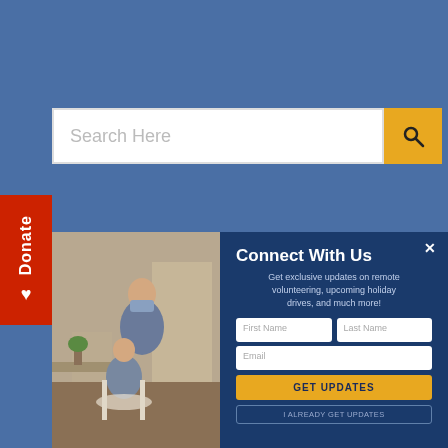[Figure (screenshot): Website screenshot showing a blue background with a search bar, a red Donate tab on the left, a photo of a woman with a child, and a 'Connect With Us' modal popup with form fields for First Name, Last Name, Email, a GET UPDATES button, and an I ALREADY GET UPDATES button.]
Search Here
Donate
Connect With Us
Get exclusive updates on remote volunteering, upcoming holiday drives, and much more!
First Name
Last Name
Email
GET UPDATES
I ALREADY GET UPDATES